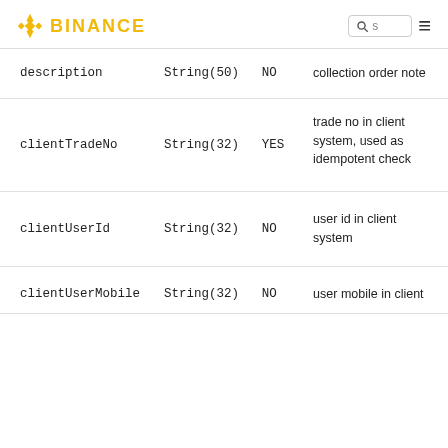BINANCE
| Field | Type | Required | Description |
| --- | --- | --- | --- |
| description | String(50) | NO | collection order note |
| clientTradeNo | String(32) | YES | trade no in client system, used as idempotent check |
| clientUserId | String(32) | NO | user id in client system |
| clientUserMobile | String(32) | NO | user mobile in client |